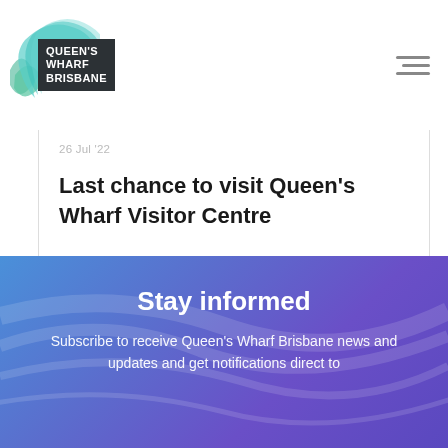[Figure (logo): Queen's Wharf Brisbane logo with teal ribbon graphic and dark text block]
26 Jul '22
Last chance to visit Queen's Wharf Visitor Centre
VISITOR CENTRE
Stay informed
Subscribe to receive Queen's Wharf Brisbane news and updates and get notifications direct to